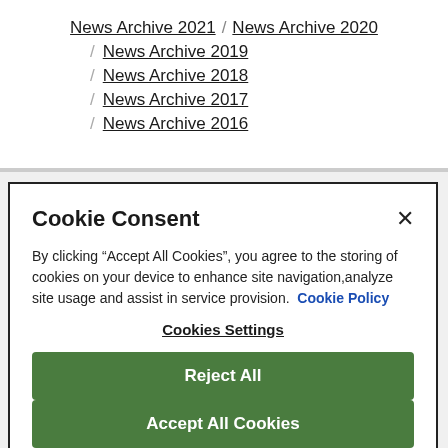News Archive 2021 / News Archive 2020
/ News Archive 2019
/ News Archive 2018
/ News Archive 2017
/ News Archive 2016
Cookie Consent
By clicking “Accept All Cookies”, you agree to the storing of cookies on your device to enhance site navigation,analyze site usage and assist in service provision.  Cookie Policy
Cookies Settings
Reject All
Accept All Cookies